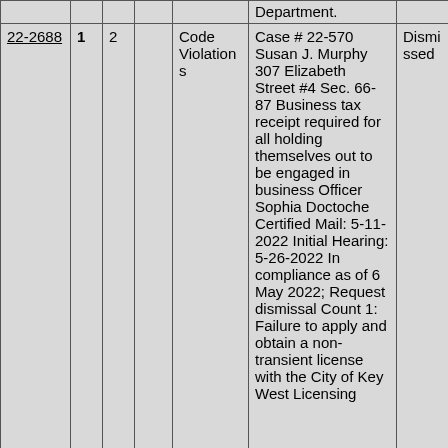| Case# |  |  |  | Type | Description | Result |
| --- | --- | --- | --- | --- | --- | --- |
|  |  |  |  | Department. |  |  |
| 22-2688 | 1 | 2 |  | Code Violations | Case # 22-570 Susan J. Murphy 307 Elizabeth Street #4 Sec. 66-87 Business tax receipt required for all holding themselves out to be engaged in business Officer Sophia Doctoche Certified Mail: 5-11-2022 Initial Hearing: 5-26-2022 In compliance as of 6 May 2022; Request dismissal Count 1: Failure to apply and obtain a non-transient license with the City of Key West Licensing | Dismissed |